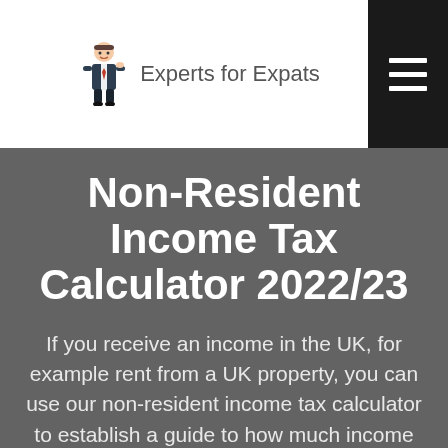[Figure (logo): Experts for Expats logo: cartoon businessman figure pointing right, with text 'Experts for Expats' in grey]
Non-Resident Income Tax Calculator 2022/23
If you receive an income in the UK, for example rent from a UK property, you can use our non-resident income tax calculator to establish a guide to how much income tax you may have to pay in the UK. The calculator is